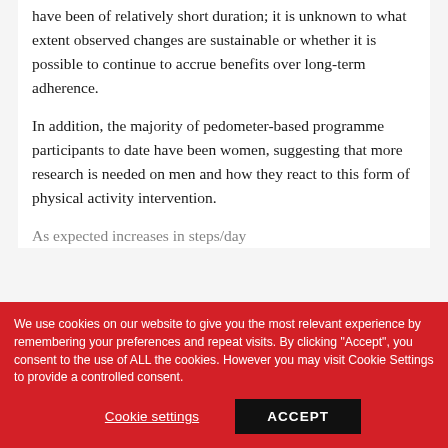have been of relatively short duration; it is unknown to what extent observed changes are sustainable or whether it is possible to continue to accrue benefits over long-term adherence.
In addition, the majority of pedometer-based programme participants to date have been women, suggesting that more research is needed on men and how they react to this form of physical activity intervention.
As expected increases in steps/day...
We use cookies on our website to give you the most relevant experience by remembering your preferences and repeat visits. By clicking "Accept", you consent to the use of ALL the cookies. However you may visit Cookie Settings to provide a controlled consent.